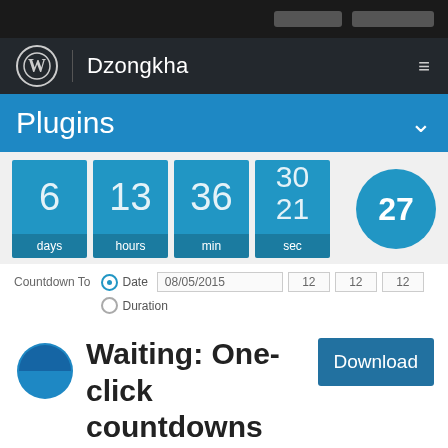Top navigation bar with WordPress logo and Dzongkha site title
Plugins
[Figure (infographic): Countdown timer showing 6 days, 13 hours, 36 min, 30/21 sec, and a circle badge showing 27]
Countdown To  Date 08/05/2015  12  12  12  Duration
[Figure (other): Plugin card with pie chart icon, text 'Waiting: One-click countdowns', and a Download button]